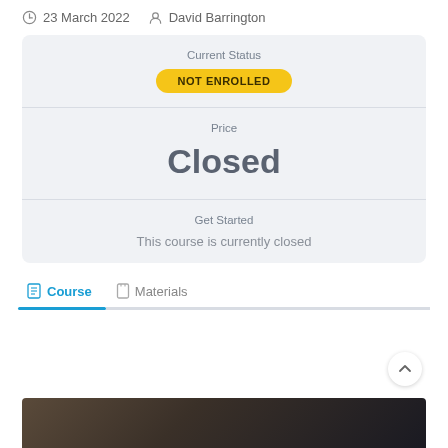23 March 2022   David Barrington
Current Status
NOT ENROLLED
Price
Closed
Get Started
This course is currently closed
Course
Materials
[Figure (photo): Dark partial image at bottom of page showing a building or outdoor scene]